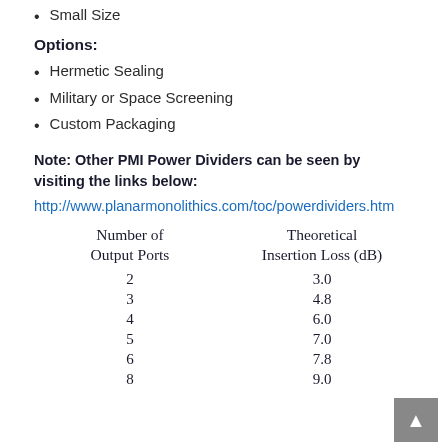Small Size
Options:
Hermetic Sealing
Military or Space Screening
Custom Packaging
Note: Other PMI Power Dividers can be seen by visiting the links below:
http://www.planarmonolithics.com/toc/powerdividers.htm
| Number of Output Ports | Theoretical Insertion Loss (dB) |
| --- | --- |
| 2 | 3.0 |
| 3 | 4.8 |
| 4 | 6.0 |
| 5 | 7.0 |
| 6 | 7.8 |
| 8 | 9.0 |